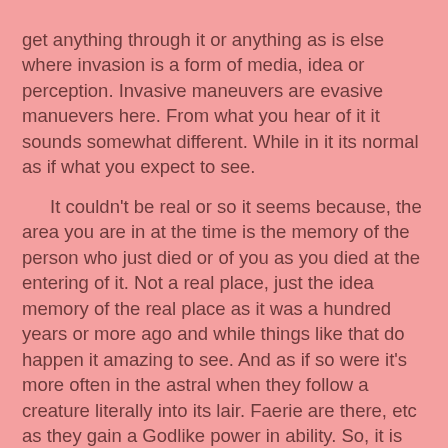get anything through it or anything as is else where invasion is a form of media, idea or perception. Invasive maneuvers are evasive manuevers here. From what you hear of it it sounds somewhat different. While in it its normal as if what you expect to see.

It couldn't be real or so it seems because, the area you are in at the time is the memory of the person who just died or of you as you died at the entering of it. Not a real place, just the idea memory of the real place as it was a hundred years or more ago and while things like that do happen it amazing to see. And as if so were it's more often in the astral when they follow a creature literally into its lair. Faerie are there, etc as they gain a Godlike power in ability. So, it is like a darker astral.

Thats one of the idea that is true, when you cross over to nevernever then your in the memory of what was there as if on an in the past. When the last person died or as if you died when you left. The memory follows what you or it thought of it, the area. Anything, even faeries could be there. Any rule you state is of a statement. As any rule is of a statement. I